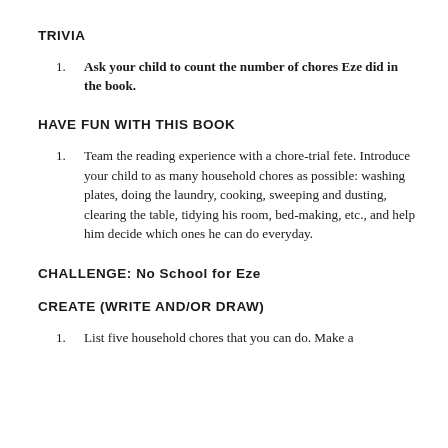TRIVIA
Ask your child to count the number of chores Eze did in the book.
HAVE FUN WITH THIS BOOK
Team the reading experience with a chore-trial fete. Introduce your child to as many household chores as possible: washing plates, doing the laundry, cooking, sweeping and dusting, clearing the table, tidying his room, bed-making, etc., and help him decide which ones he can do everyday.
CHALLENGE: No School for Eze
CREATE (WRITE AND/OR DRAW)
List five household chores that you can do. Make a